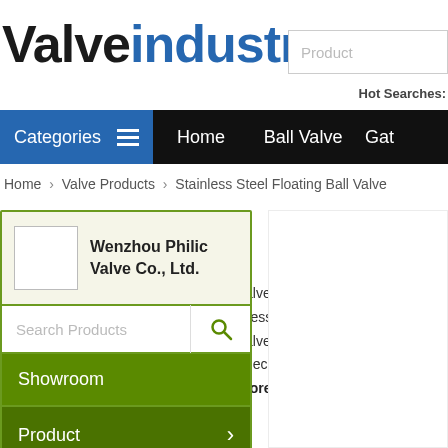Valveindustry
Product
Hot Searches:
Categories  ≡  Home  Ball Valve  Gat
Home > Valve Products > Stainless Steel Floating Ball Valve
valve  constant pressure valve  parker check valve  More
Wenzhou Philic Valve Co., Ltd.
Search Products
Showroom
Product